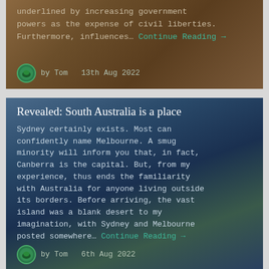underlined by increasing government powers as the expense of civil liberties. Furthermore, influences… Continue Reading →
by Tom   13th Aug 2022
Revealed: South Australia is a place
Sydney certainly exists. Most can confidently name Melbourne. A smug minority will inform you that, in fact, Canberra is the capital. But, from my experience, thus ends the familiarity with Australia for anyone living outside its borders. Before arriving, the vast island was a blank desert to my imagination, with Sydney and Melbourne posted somewhere… Continue Reading →
by Tom   6th Aug 2022